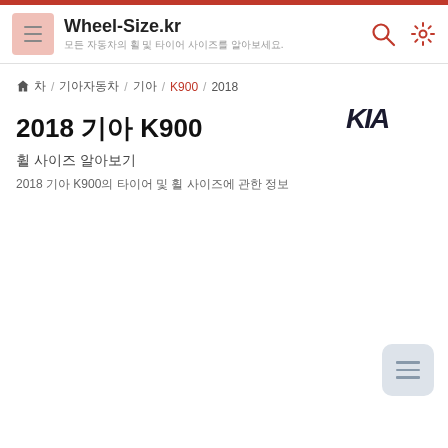Wheel-Size.kr — 모든 자동차의 휠 및 타이어 사이즈를 알아보세요.
🏠 차 / 기아자동차 / 기아 / K900 / 2018
2018 기아 K900
휠 사이즈 알아보기
2018 기아 K900의 타이어 및 휠 사이즈에 관한 정보